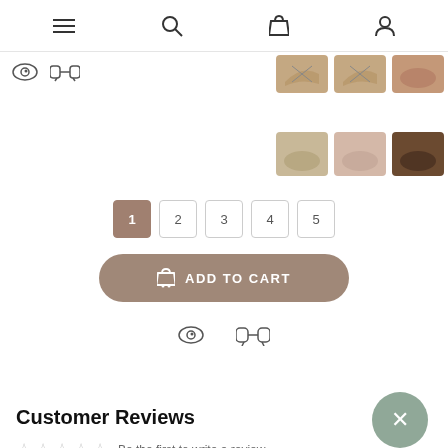[Figure (screenshot): Mobile e-commerce page showing navigation bar with hamburger, search, cart, and profile icons]
[Figure (screenshot): Product thumbnail images of baby moccasin shoes in brown and tan colors, arranged in two rows on right side]
[Figure (screenshot): Quantity selector showing buttons 1 2 3 4 5 with 1 highlighted in brown/taupe]
[Figure (screenshot): Add to Cart button with cart icon, rounded pill shape in taupe/brown color]
[Figure (screenshot): Eye and binoculars wishlist/compare icons below add to cart button]
Customer Reviews
Be the first to write a review
Write a review